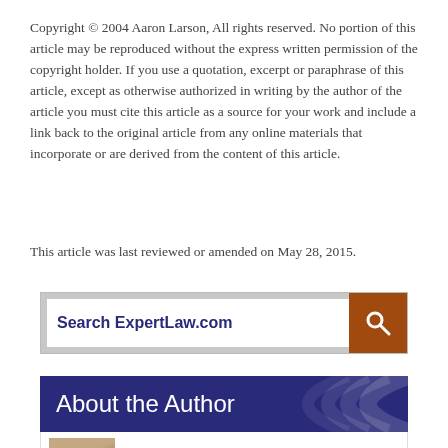Copyright © 2004 Aaron Larson, All rights reserved. No portion of this article may be reproduced without the express written permission of the copyright holder. If you use a quotation, excerpt or paraphrase of this article, except as otherwise authorized in writing by the author of the article you must cite this article as a source for your work and include a link back to the original article from any online materials that incorporate or are derived from the content of this article.
This article was last reviewed or amended on May 28, 2015.
[Figure (other): Search ExpertLaw.com search bar with orange search button]
About the Author
[Figure (photo): Author photo - partial view of a person]